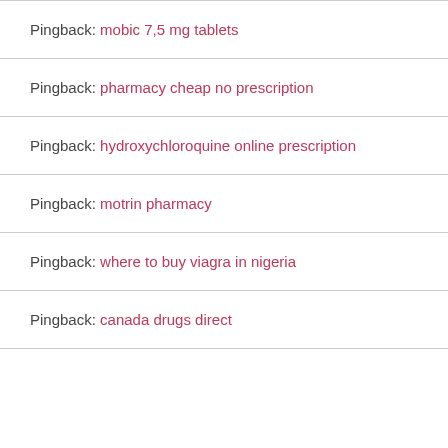Pingback: mobic 7,5 mg tablets
Pingback: pharmacy cheap no prescription
Pingback: hydroxychloroquine online prescription
Pingback: motrin pharmacy
Pingback: where to buy viagra in nigeria
Pingback: canada drugs direct